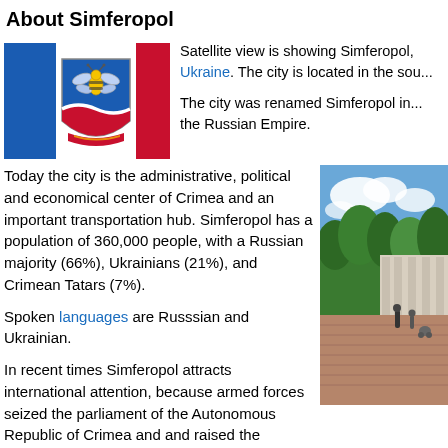About Simferopol
[Figure (illustration): Flag of Simferopol (blue and red vertical stripes) and coat of arms (blue shield with golden bee and red/white wave design)]
Satellite view is showing Simferopol, Ukraine. The city is located in the sou...
The city was renamed Simferopol in... the Russian Empire.
Today the city is the administrative, political and economical center of Crimea and an important transportation hub. Simferopol has a population of 360,000 people, with a Russian majority (66%), Ukrainians (21%), and Crimean Tatars (7%).
Spoken languages are Russsian and Ukrainian.
In recent times Simferopol attracts international attention, because armed forces seized the parliament of the Autonomous Republic of Crimea and and raised the Russian flag, a day later anonymous paramilitary troops (without any national insignias) have occupied Simferopol International...
[Figure (photo): Outdoor photo of Simferopol showing a public square or park with trees, classical building columns, and people on brick paving under a blue sky with clouds.]